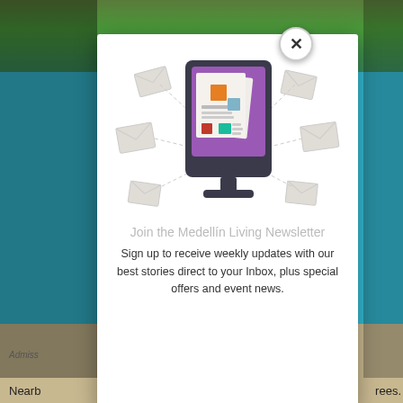[Figure (photo): Background photo of a blue swimming pool with green trees and fence in the background]
[Figure (illustration): Newsletter signup modal with a monitor icon showing a newspaper/newsletter with colorful blocks, surrounded by floating envelope icons on dotted lines indicating email delivery]
Join the Medellín Living Newsletter
Sign up to receive weekly updates with our best stories direct to your Inbox, plus special offers and event news.
Admiss
Nearb
rees.